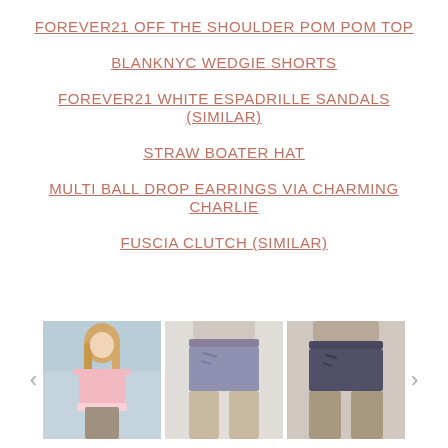FOREVER21 OFF THE SHOULDER POM POM TOP
BLANKNYC WEDGIE SHORTS
FOREVER21 WHITE ESPADRILLE SANDALS (SIMILAR)
STRAW BOATER HAT
MULTI BALL DROP EARRINGS VIA CHARMING CHARLIE
FUSCIA CLUTCH (SIMILAR)
[Figure (photo): Three product photos in a carousel: a model wearing a pink off-shoulder top, denim shorts (medium wash), and dark denim shorts. Navigation arrows on left and right.]